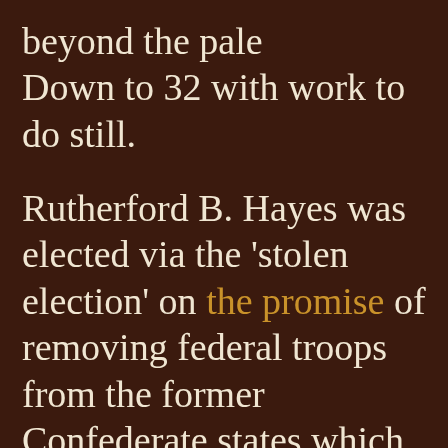beyond the pale Down to 32 with work to do still.
Rutherford B. Hayes was elected via the 'stolen election' on the promise of removing federal troops from the former Confederate states which made for the introduction of segregation and Black voter suppression. 21